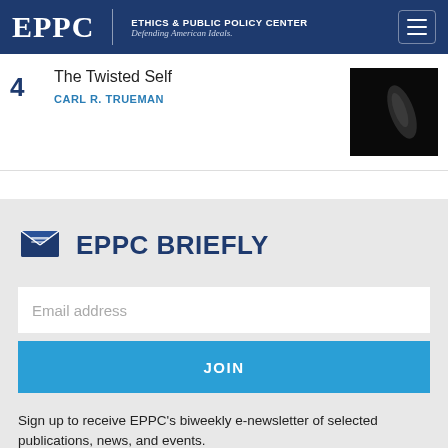[Figure (logo): EPPC - Ethics & Public Policy Center logo with tagline 'Defending American Ideals.' on dark navy header, with hamburger menu icon on the right.]
4
The Twisted Self
CARL R. TRUEMAN
[Figure (photo): Dark photograph showing a hand or arm, dark background.]
[Figure (illustration): Email envelope icon in navy blue for EPPC Briefly newsletter section.]
EPPC BRIEFLY
Email address
JOIN
Sign up to receive EPPC's biweekly e-newsletter of selected publications, news, and events.